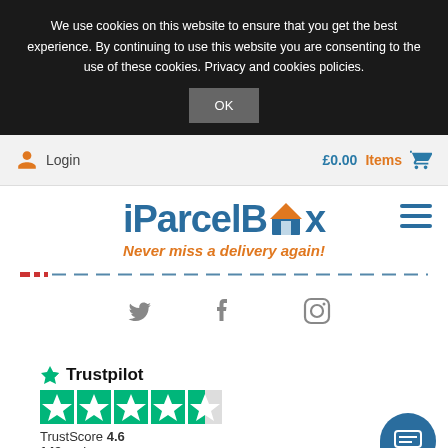We use cookies on this website to ensure that you get the best experience. By continuing to use this website you are consenting to the use of these cookies. Privacy and cookies policies.
OK
Login
£0.00  Items
[Figure (logo): iParcelBox logo with house/parcel icon and tagline 'Never miss a delivery again!']
[Figure (infographic): Dashed horizontal line with small red and blue rectangular markers]
[Figure (infographic): Social media icons: Twitter, Facebook, Instagram in grey]
[Figure (infographic): Trustpilot rating: 4.6 stars out of 5, 149 reviews]
TrustScore 4.6
149 reviews